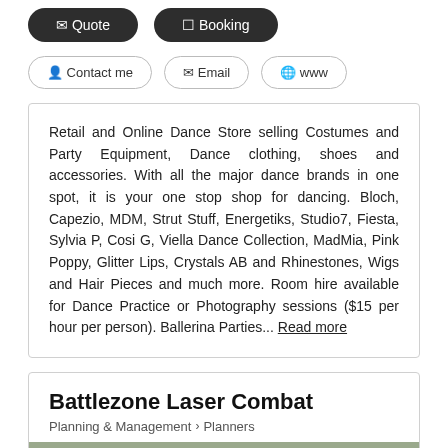Quote | Booking (buttons)
Contact me | Email | www (buttons)
Retail and Online Dance Store selling Costumes and Party Equipment, Dance clothing, shoes and accessories. With all the major dance brands in one spot, it is your one stop shop for dancing. Bloch, Capezio, MDM, Strut Stuff, Energetiks, Studio7, Fiesta, Sylvia P, Cosi G, Viella Dance Collection, MadMia, Pink Poppy, Glitter Lips, Crystals AB and Rhinestones, Wigs and Hair Pieces and much more. Room hire available for Dance Practice or Photography sessions ($15 per hour per person). Ballerina Parties... Read more
Battlezone Laser Combat
Planning & Management > Planners
[Figure (photo): Person in camouflage gear aiming a laser combat gun outdoors]